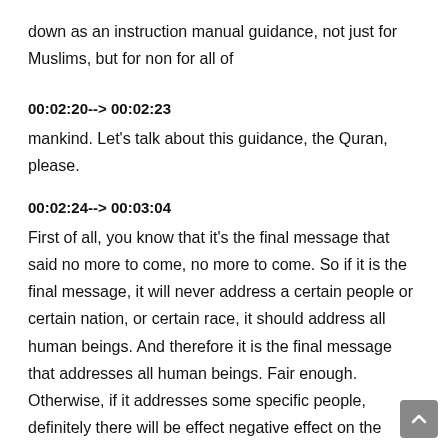down as an instruction manual guidance, not just for Muslims, but for non for all of
00:02:20--> 00:02:23
mankind. Let's talk about this guidance, the Quran, please.
00:02:24--> 00:03:04
First of all, you know that it's the final message that said no more to come, no more to come. So if it is the final message, it will never address a certain people or certain nation, or certain race, it should address all human beings. And therefore it is the final message that addresses all human beings. Fair enough. Otherwise, if it addresses some specific people, definitely there will be effect negative effect on the others. And that's why you find in the Quran, that Almighty Allah addresses people in a beginning saying this statement. All you people